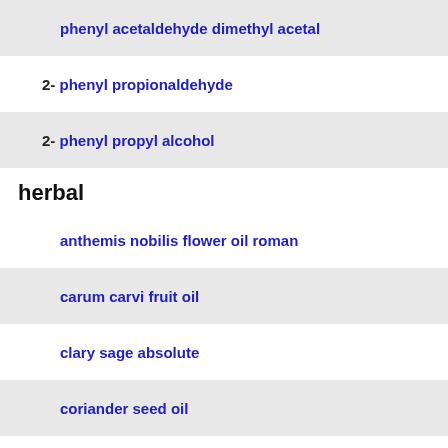phenyl acetaldehyde dimethyl acetal
2- phenyl propionaldehyde
2- phenyl propyl alcohol
herbal
anthemis nobilis flower oil roman
carum carvi fruit oil
clary sage absolute
coriander seed oil
rosmarinus officinalis extract
honey
phenethyl phenyl acetate